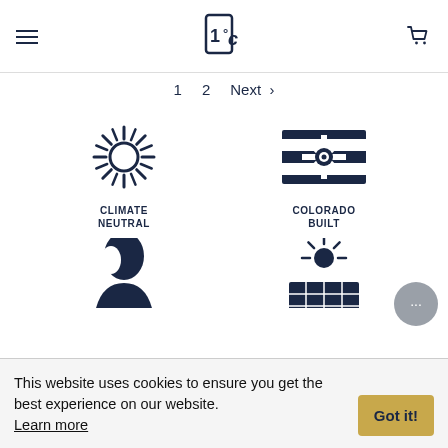1C logo, hamburger menu, cart icon
1   2   Next  >
[Figure (logo): Climate Neutral icon: sun/starburst shape in dark navy blue]
CLIMATE NEUTRAL
[Figure (logo): Colorado Built icon: Colorado flag-style rectangle with gear/snowflake and circle]
COLORADO BUILT
[Figure (illustration): Person silhouette icon in dark navy]
[Figure (illustration): Solar panel / sun icon in dark navy]
This website uses cookies to ensure you get the best experience on our website. Learn more
Got it!